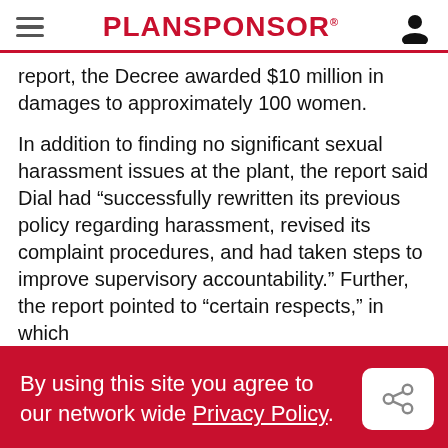PLANSPONSOR
report, the Decree awarded $10 million in damages to approximately 100 women.
In addition to finding no significant sexual harassment issues at the plant, the report said Dial had “successfully rewritten its previous policy regarding harassment, revised its complaint procedures, and had taken steps to improve supervisory accountability.” Further, the report pointed to “certain respects,” in which
By using this site you agree to our network wide Privacy Policy.